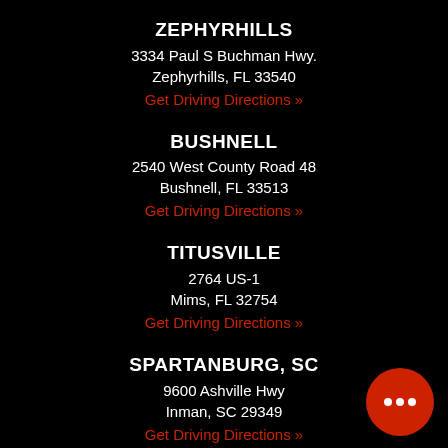ZEPHYRHILLS
3334 Paul S Buchman Hwy.
Zephyrhills, FL 33540
Get Driving Directions »
BUSHNELL
2540 West County Road 48
Bushnell, FL 33513
Get Driving Directions »
TITUSVILLE
2764 US-1
Mims, FL 32754
Get Driving Directions »
SPARTANBURG, SC
9600 Ashville Hwy
Inman, SC 29349
Get Driving Directions »
PHILADELPHIA, PA
1809 W High St.
Pottstown, PA 19464